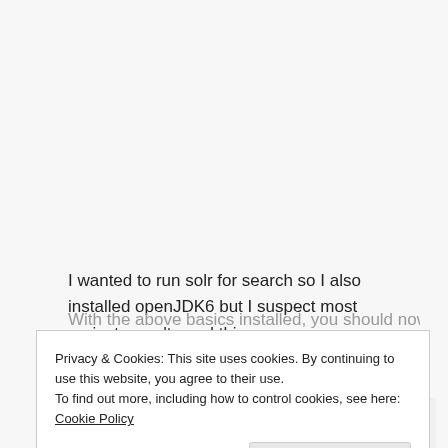I wanted to run solr for search so I also installed openJDK6 but I suspect most projects won't need this.
pacman -S openjdk6
With the above basics installed, you should now...
Privacy & Cookies: This site uses cookies. By continuing to use this website, you agree to their use.
To find out more, including how to control cookies, see here: Cookie Policy
Close and accept
ruby -v